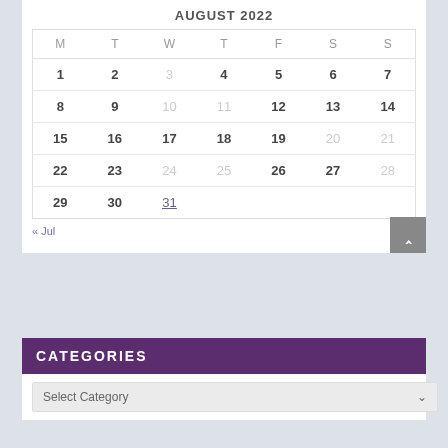AUGUST 2022
| M | T | W | T | F | S | S |
| --- | --- | --- | --- | --- | --- | --- |
| 1 | 2 | 3 | 4 | 5 | 6 | 7 |
| 8 | 9 | 10 | 11 | 12 | 13 | 14 |
| 15 | 16 | 17 | 18 | 19 | 20 | 21 |
| 22 | 23 | 24 | 25 | 26 | 27 | 28 |
| 29 | 30 | 31 |  |  |  |  |
« Jul
CATEGORIES
Select Category